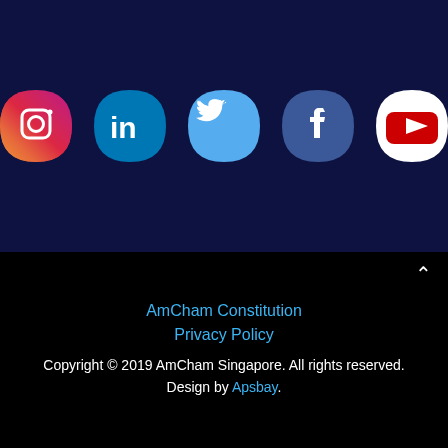[Figure (illustration): Five social media icons (Instagram, LinkedIn, Twitter, Facebook, YouTube) displayed in a row on a dark navy background. Each icon has a teardrop/leaf-shaped background badge.]
AmCham Constitution
Privacy Policy
Copyright © 2019 AmCham Singapore. All rights reserved. Design by Apsbay.